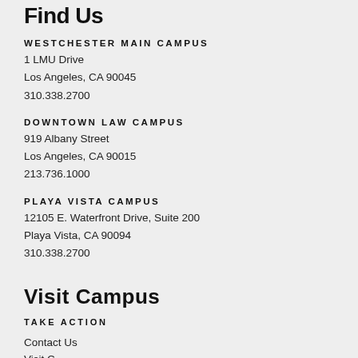Find Us
WESTCHESTER MAIN CAMPUS
1 LMU Drive
Los Angeles, CA 90045
310.338.2700
DOWNTOWN LAW CAMPUS
919 Albany Street
Los Angeles, CA 90015
213.736.1000
PLAYA VISTA CAMPUS
12105 E. Waterfront Drive, Suite 200
Playa Vista, CA 90094
310.338.2700
Visit Campus
TAKE ACTION
Contact Us
Visit C…